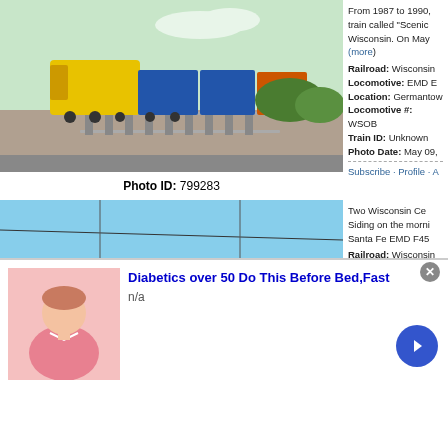[Figure (photo): Yellow and blue locomotive train on tracks, Photo ID 799283]
Photo ID: 799283
From 1987 to 1990, train called "Scenic Wisconsin. On May (more)
Railroad: Wisconsin
Locomotive: EMD E
Location: Germantow
Locomotive #: WSOB
Train ID: Unknown
Photo Date: May 09,
Subscribe · Profile · A
[Figure (photo): Red and yellow Wisconsin Central locomotive 6651 on tracks, Photo ID 799282]
Photo ID: 799282
Two Wisconsin Ce Siding on the morni Santa Fe EMD F45
Railroad: Wisconsin
Locomotive: EMD F4
Location: Byron, Wi
Locomotive #: WC 6
Train ID: Unknown
Photo Date: March 2
Subscribe · Profile · A
[Figure (illustration): Infolinks advertisement banner: Diabetics over 50 Do This Before Bed, Fast. Shows illustration of person and n/a text.]